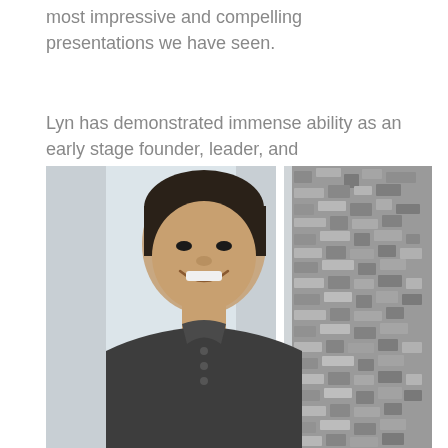most impressive and compelling presentations we have seen.
Lyn has demonstrated immense ability as an early stage founder, leader, and entrepreneur.
[Figure (photo): A smiling man with dark hair wearing a dark grey henley shirt, photographed outdoors with a blurred background on the left side and a grey textured stone or concrete wall on the right side.]